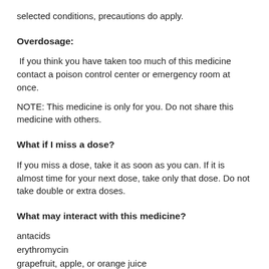selected conditions, precautions do apply.
Overdosage:
If you think you have taken too much of this medicine contact a poison control center or emergency room at once.
NOTE: This medicine is only for you. Do not share this medicine with others.
What if I miss a dose?
If you miss a dose, take it as soon as you can. If it is almost time for your next dose, take only that dose. Do not take double or extra doses.
What may interact with this medicine?
antacids
erythromycin
grapefruit, apple, or orange juice
ketoconazole
magnesium-containing products
This list may not describe all possible interactions. Give your health care provider a list of all the medicines, herbs, non-prescription drugs, or dietary supplements you use. Also tell them if you smoke, drink alcohol, or use